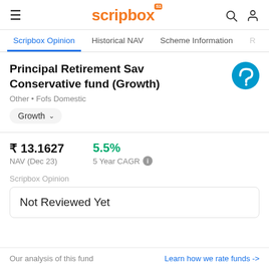scripbox
Scripbox Opinion | Historical NAV | Scheme Information
Principal Retirement Sav Conservative fund (Growth)
Other • Fofs Domestic
Growth
₹ 13.1627
NAV (Dec 23)
5.5%
5 Year CAGR
Scripbox Opinion
Not Reviewed Yet
Our analysis of this fund
Learn how we rate funds ->